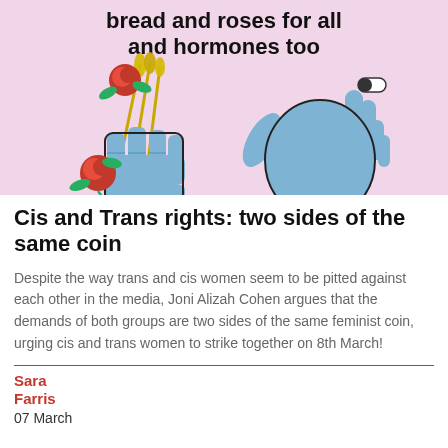[Figure (illustration): Illustration showing two blue hands on a pink background. The left hand holds roses and wheat stalks, the right hand holds a white pill/capsule. Text at top reads 'bread and roses for all and hormones too'.]
Cis and Trans rights: two sides of the same coin
Despite the way trans and cis women seem to be pitted against each other in the media, Joni Alizah Cohen argues that the demands of both groups are two sides of the same feminist coin, urging cis and trans women to strike together on 8th March!
Sara Farris
07 March